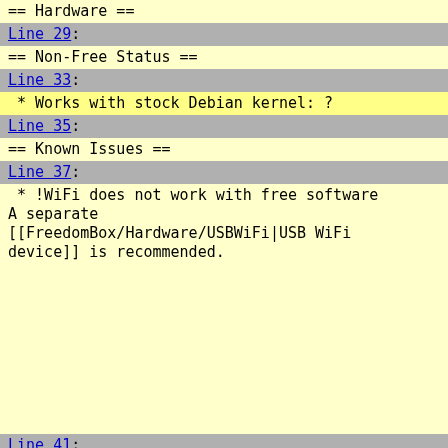== Hardware ==
Line 29:
== Non-Free Status ==
Line 33:
* Works with stock Debian kernel: ?
Line 35:
== Known Issues ==
Line 37:
* !WiFi does not work with free software
A separate [[FreedomBox/Hardware/USBWiFi|USB WiFi device]] is recommended.
Line 41: